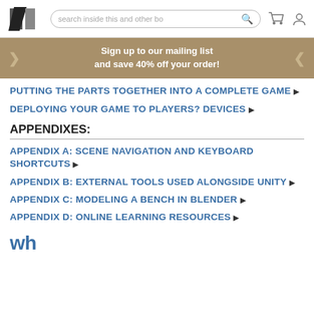search inside this and other bo
Sign up to our mailing list and save 40% off your order!
PUTTING THE PARTS TOGETHER INTO A COMPLETE GAME ▶
DEPLOYING YOUR GAME TO PLAYERS? DEVICES ▶
APPENDIXES:
APPENDIX A: SCENE NAVIGATION AND KEYBOARD SHORTCUTS ▶
APPENDIX B: EXTERNAL TOOLS USED ALONGSIDE UNITY ▶
APPENDIX C: MODELING A BENCH IN BLENDER ▶
APPENDIX D: ONLINE LEARNING RESOURCES ▶